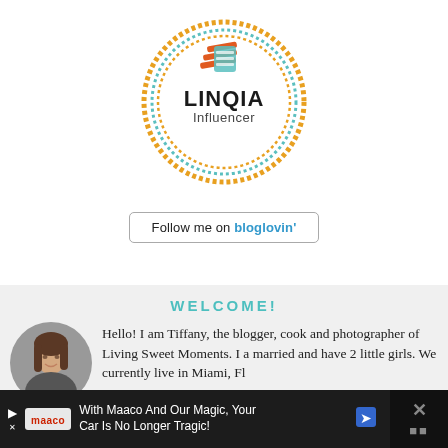[Figure (logo): LINQIA Influencer badge — circular badge with orange outer ring, teal inner ring, orange and teal stacked-lines logo icon at top, bold text LINQIA and subtitle Influencer]
Follow me on bloglovin'
WELCOME!
[Figure (photo): Circular headshot photo of a young woman with dark hair, smiling, wearing a dark top]
Hello! I am Tiffany, the blogger, cook and photographer of Living Sweet Moments. I a married and have 2 little girls. We currently live in Miami, Fl
[Figure (other): Advertisement banner at bottom: dark background with Maaco logo, text 'With Maaco And Our Magic, Your Car Is No Longer Tragic!' with a blue road sign icon, and a close/dismiss button on the right]